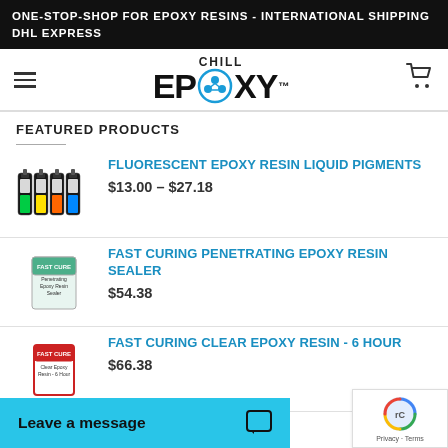ONE-STOP-SHOP FOR EPOXY RESINS - INTERNATIONAL SHIPPING DHL EXPRESS
[Figure (logo): Chill Epoxy logo with hamburger menu, cart icon, and brand mark featuring circular blue atom/molecule icon integrated into word EPOXY]
FEATURED PRODUCTS
[Figure (photo): Four small bottles of fluorescent liquid pigments in green, yellow, orange, and blue colors]
FLUORESCENT EPOXY RESIN LIQUID PIGMENTS
$13.00 – $27.18
[Figure (photo): Box of Fast Curing Penetrating Epoxy Resin Sealer product]
FAST CURING PENETRATING EPOXY RESIN SEALER
$54.38
[Figure (photo): Box of Fast Curing Clear Epoxy Resin 6 Hour product]
FAST CURING CLEAR EPOXY RESIN - 6 HOUR
$66.38
Leave a message